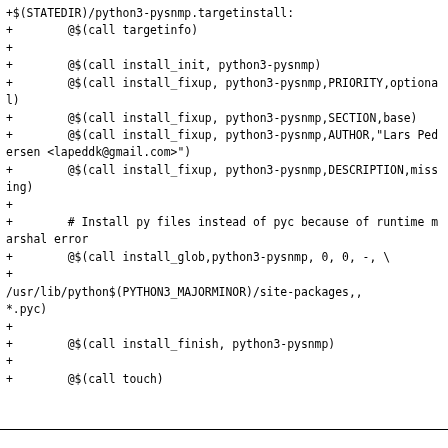+$(STATEDIR)/python3-pysnmp.targetinstall:
+	@$(call targetinfo)
+
+	@$(call install_init, python3-pysnmp)
+	@$(call install_fixup, python3-pysnmp,PRIORITY,optional)
+	@$(call install_fixup, python3-pysnmp,SECTION,base)
+	@$(call install_fixup, python3-pysnmp,AUTHOR,"Lars Pedersen <lapeddk@gmail.com>")
+	@$(call install_fixup, python3-pysnmp,DESCRIPTION,missing)
+
+	# Install py files instead of pyc because of runtime marshal error
+	@$(call install_glob,python3-pysnmp, 0, 0, -, \
+
/usr/lib/python$(PYTHON3_MAJORMINOR)/site-packages,,
*.pyc)
+
+	@$(call install_finish, python3-pysnmp)
+
+	@$(call touch)
+
+# vim: syntax=make
--
2.31.1